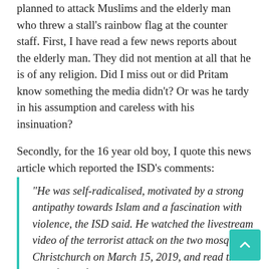planned to attack Muslims and the elderly man who threw a stall's rainbow flag at the counter staff. First, I have read a few news reports about the elderly man. They did not mention at all that he is of any religion. Did I miss out or did Pritam know something the media didn't? Or was he tardy in his assumption and careless with his insinuation?
Secondly, for the 16 year old boy, I quote this news article which reported the ISD's comments:
“He was self-radicalised, motivated by a strong antipathy towards Islam and a fascination with violence, the ISD said. He watched the livestream video of the terrorist attack on the two mosques in Christchurch on March 15, 2019, and read the manifesto of the attacker, Brenton Tarrant, a white supremacist, it said. He had also watched Islamic State in Iraq and Syria